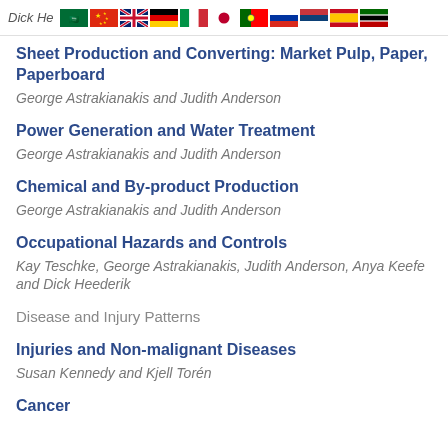Dick He... [flags row]
Sheet Production and Converting: Market Pulp, Paper, Paperboard
George Astrakianakis and Judith Anderson
Power Generation and Water Treatment
George Astrakianakis and Judith Anderson
Chemical and By-product Production
George Astrakianakis and Judith Anderson
Occupational Hazards and Controls
Kay Teschke, George Astrakianakis, Judith Anderson, Anya Keefe and Dick Heederik
Disease and Injury Patterns
Injuries and Non-malignant Diseases
Susan Kennedy and Kjell Torén
Cancer